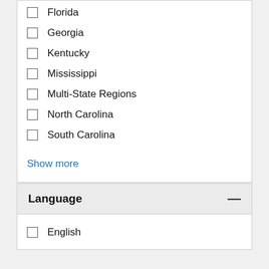Florida
Georgia
Kentucky
Mississippi
Multi-State Regions
North Carolina
South Carolina
Show more
Language
English